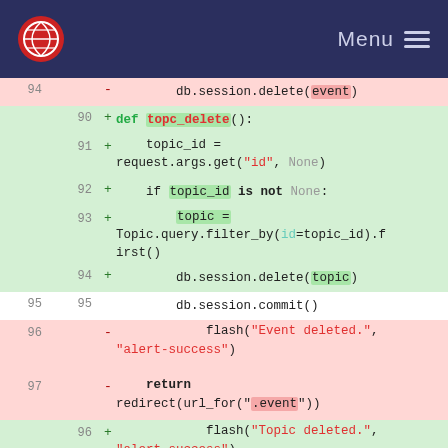Menu
[Figure (screenshot): Code diff view showing Python function changes from event_delete to topc_delete, with removed lines (red background) and added lines (green background), line numbers 90-99 visible.]